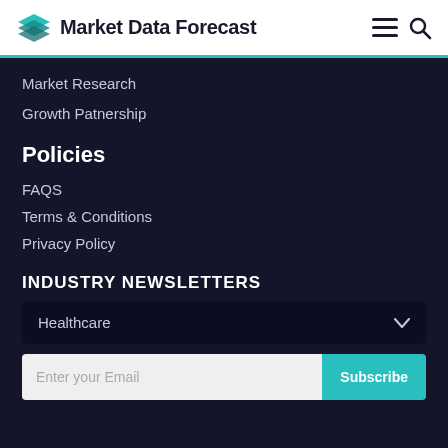Market Data Forecast
Market Research
Growth Patnership
Policies
FAQS
Terms & Conditions
Privacy Policy
INDUSTRY NEWSLETTERS
Healthcare
Enter your Email
Subscribe